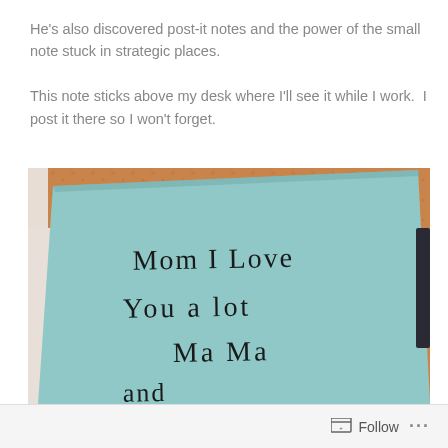He's also discovered post-it notes and the power of the small note stuck in strategic places.

This note sticks above my desk where I'll see it while I work.  I post it there so I won't forget.
[Figure (photo): A photo of a light blue post-it note stuck to a cork board. The note is written in child's handwriting and reads: 'Mom I Love You a lot Mama and...' (partially visible). The background shows a cork bulletin board texture.]
Follow ...